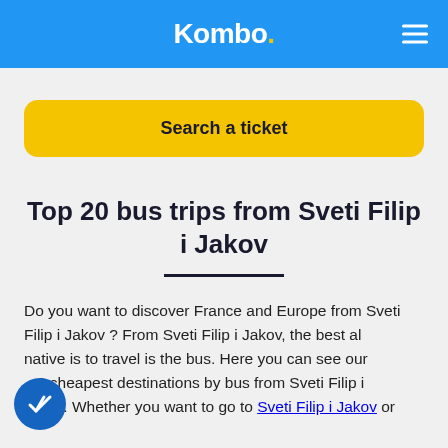Kombo.
Search a ticket
Top 20 bus trips from Sveti Filip i Jakov
Do you want to discover France and Europe from Sveti Filip i Jakov ? From Sveti Filip i Jakov, the best alternative is to travel is the bus. Here you can see our 20 cheapest destinations by bus from Sveti Filip i Jakov. Whether you want to go to Sveti Filip i Jakov or